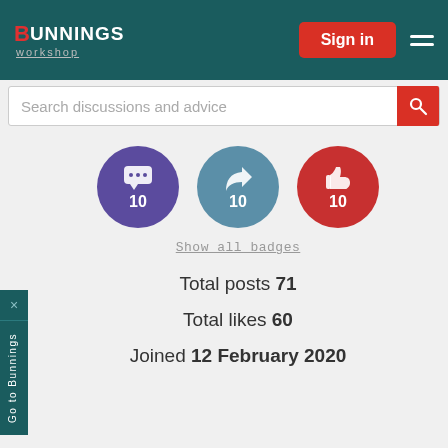Bunnings Workshop — Sign in
Search discussions and advice
[Figure (infographic): Three circular badge icons: purple chat bubble icon with '10', teal share icon with '10', red thumbs-up icon with '10']
Show all badges
Total posts 71
Total likes 60
Joined 12 February 2020